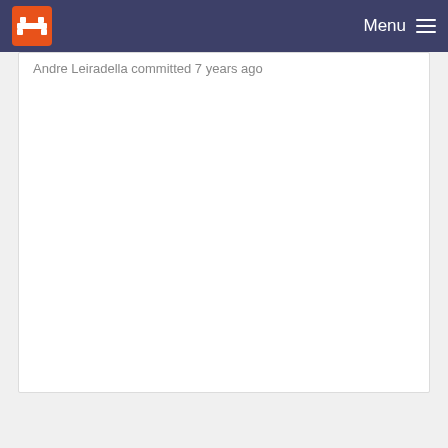Menu
Andre Leiradella committed 7 years ago
minor corrections
Andre Leiradella committed 7 years ago
added a readme file
Andre Leiradella committed 7 years ago